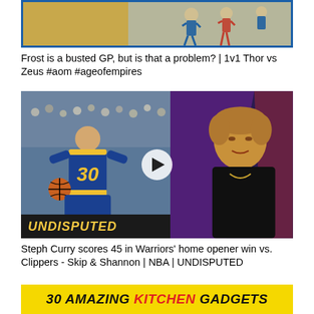[Figure (screenshot): Video thumbnail showing a strategy game (Age of Empires) scene with blue border and golden/tan background with players]
Frost is a busted GP, but is that a problem? | 1v1 Thor vs Zeus #aom #ageofempires
[Figure (screenshot): Video thumbnail showing Steph Curry dribbling in Warriors jersey #30 on left, and a TV host on right, with UNDISPUTED banner and play button overlay]
Steph Curry scores 45 in Warriors' home opener win vs. Clippers - Skip & Shannon | NBA | UNDISPUTED
[Figure (screenshot): Yellow banner reading '30 AMAZING KITCHEN GADGETS' in black and red bold italic text]